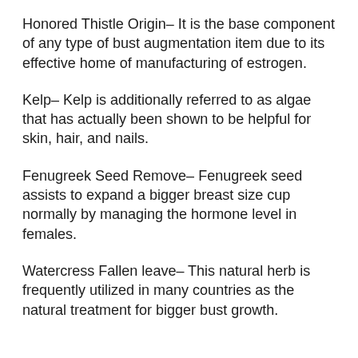Honored Thistle Origin– It is the base component of any type of bust augmentation item due to its effective home of manufacturing of estrogen.
Kelp– Kelp is additionally referred to as algae that has actually been shown to be helpful for skin, hair, and nails.
Fenugreek Seed Remove– Fenugreek seed assists to expand a bigger breast size cup normally by managing the hormone level in females.
Watercress Fallen leave– This natural herb is frequently utilized in many countries as the natural treatment for bigger bust growth.